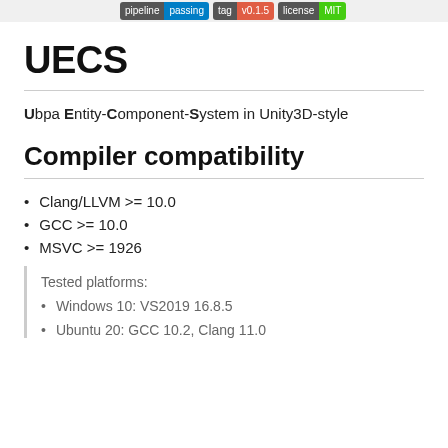[Figure (other): Badge bar with CI/CD status badges at the top of the page]
UECS
Ubpa Entity-Component-System in Unity3D-style
Compiler compatibility
Clang/LLVM >= 10.0
GCC >= 10.0
MSVC >= 1926
Tested platforms:
Windows 10: VS2019 16.8.5
Ubuntu 20: GCC 10.2, Clang 11.0